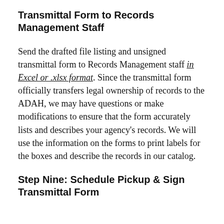Transmittal Form to Records Management Staff
Send the drafted file listing and unsigned transmittal form to Records Management staff in Excel or .xlsx format. Since the transmittal form officially transfers legal ownership of records to the ADAH, we may have questions or make modifications to ensure that the form accurately lists and describes your agency's records. We will use the information on the forms to print labels for the boxes and describe the records in our catalog.
Step Nine: Schedule Pickup & Sign Transmittal Form